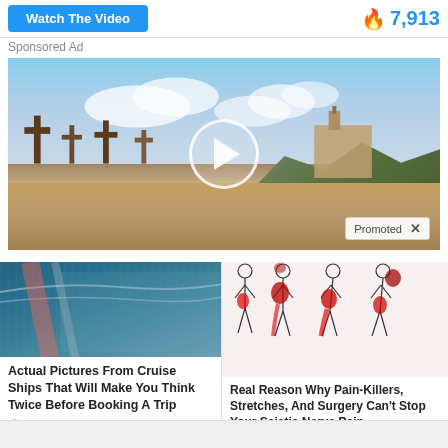[Figure (screenshot): Watch The Video button (blue) on left, fire icon with count 7,913 in blue on right]
Sponsored Ad
[Figure (photo): Video thumbnail showing a cemetery with wooden crosses, an adobe church, and mountains in the background. A circular play button is overlaid in the center. A 'Promoted X' badge appears in the bottom right.]
[Figure (photo): Aerial photo of a crowded beach/cruise ship area]
Actual Pictures From Cruise Ships That Will Make You Think Twice Before Booking A Trip
🔥 104,469
[Figure (illustration): Medical illustration of human body figures showing pain areas in red for sciatica nerve pain]
Real Reason Why Pain-Killers, Stretches, And Surgery Can't Stop Your Sciatic Nerve Pain